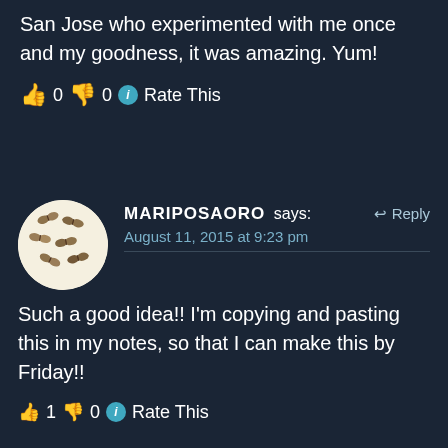San Jose who experimented with me once and my goodness, it was amazing. Yum!
👍 0 👎 0 ℹ Rate This
MARIPOSAORO says: August 11, 2015 at 9:23 pm
Such a good idea!! I'm copying and pasting this in my notes, so that I can make this by Friday!!
👍 1 👎 0 ℹ Rate This